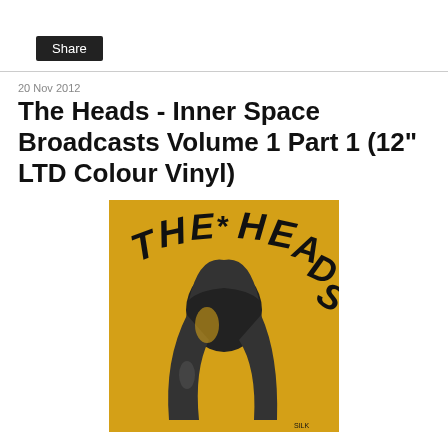Share
20 Nov 2012
The Heads - Inner Space Broadcasts Volume 1 Part 1 (12" LTD Colour Vinyl)
[Figure (photo): Album cover for The Heads - Inner Space Broadcasts Volume 1 Part 1. Yellow background with bold black psychedelic lettering reading 'The Heads' and a black and white illustration of a person with long hair viewed from behind/side.]